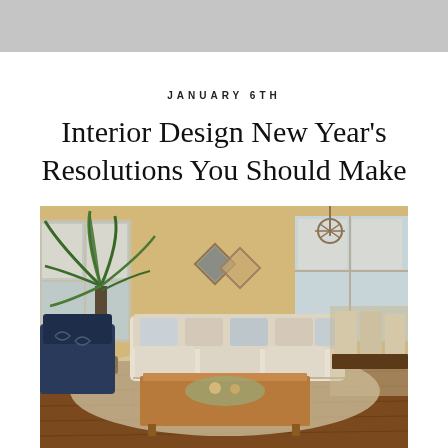JANUARY 6TH
Interior Design New Year’s Resolutions You Should Make
[Figure (photo): A bright and stylish living room with a cream sofa with patterned pillows, a wooden coffee table, a large tropical plant by a window, diamond-shaped wall art, a chandelier, and a dining area in the background with dark wood floors.]